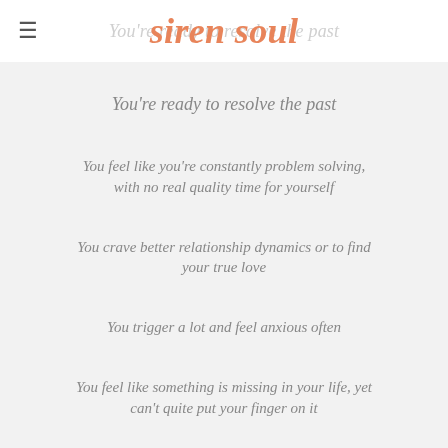siren soul
You're ready to resolve the past
You feel like you're constantly problem solving, with no real quality time for yourself
You crave better relationship dynamics or to find your true love
You trigger a lot and feel anxious often
You feel like something is missing in your life, yet can't quite put your finger on it